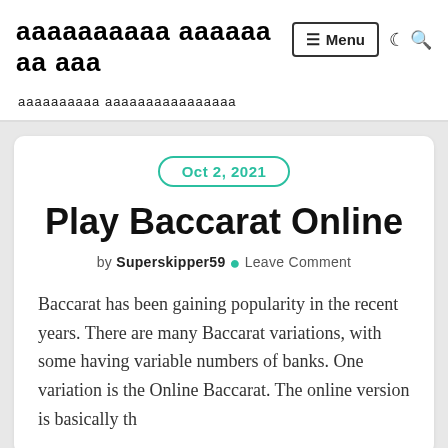ааааааааа ааааааааа ааа
аааааааа аааааааааааааа
Oct 2, 2021
Play Baccarat Online
by Superskipper59 • Leave Comment
Baccarat has been gaining popularity in the recent years. There are many Baccarat variations, with some having variable numbers of banks. One variation is the Online Baccarat. The online version is basically th